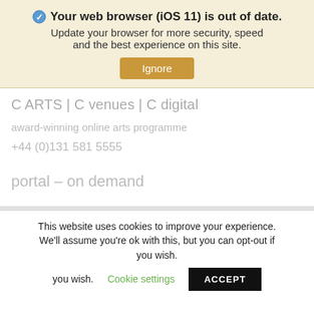Your web browser (iOS 11) is out of date. Update your browser for more security, speed and the best experience on this site.
Ignore
C ARTS | C venues | C digital
award-winning online arts programme
+44 (0)131 581 5555
portal – on demand
This website uses cookies to improve your experience. We'll assume you're ok with this, but you can opt-out if you wish.
Cookie settings
ACCEPT